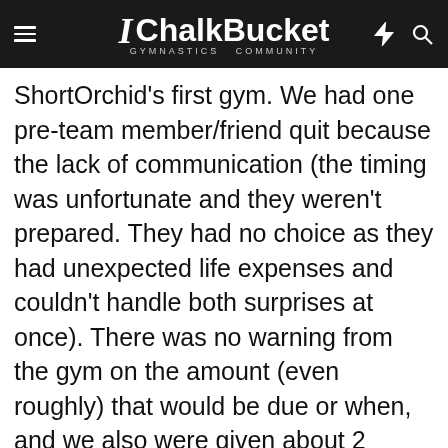ChalkBucket GYMNASTICS COMMUNITY
ShortOrchid's first gym. We had one pre-team member/friend quit because the lack of communication (the timing was unfortunate and they weren't prepared. They had no choice as they had unexpected life expenses and couldn't handle both surprises at once). There was no warning from the gym on the amount (even roughly) that would be due or when, and we also were given about 2 weeks notice. There was also never a "Ok, she's officially on the team." Thankfully, a few of us had asked parents of upper level gymnasts in the months prior regarding fees, and we all spread the news. As such, we had an unofficial ballpark, just not the timeline or certainty.
It was frustrating at the time, but we all took it with a "what can you do?" attitude. At the time, I figured it